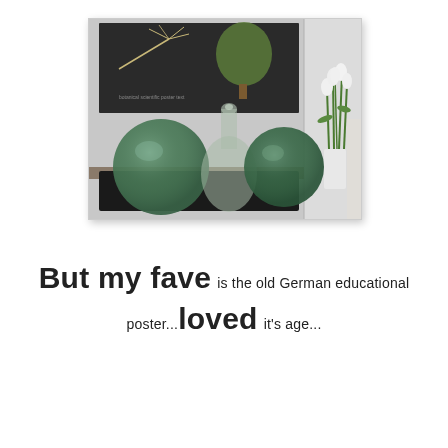[Figure (photo): Interior decorating photo showing two dark green glass fishing float balls on a black tray, a large clear glass bottle/demijohn in the center, and a white vase with white tulips on the right. Behind is a dark educational poster with botanical illustrations on a white wall.]
But my fave is the old German educational poster...loved it's age...